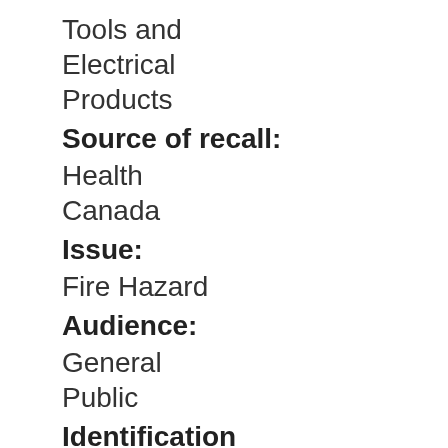Tools and Electrical Products
Source of recall:
Health Canada
Issue:
Fire Hazard
Audience:
General Public
Identification number:
RA-39511
Affected products